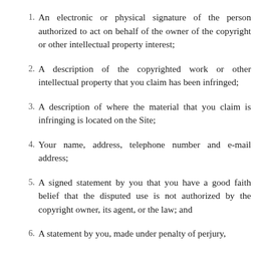1. An electronic or physical signature of the person authorized to act on behalf of the owner of the copyright or other intellectual property interest;
2. A description of the copyrighted work or other intellectual property that you claim has been infringed;
3. A description of where the material that you claim is infringing is located on the Site;
4. Your name, address, telephone number and e-mail address;
5. A signed statement by you that you have a good faith belief that the disputed use is not authorized by the copyright owner, its agent, or the law; and
6. A statement by you, made under penalty of perjury,